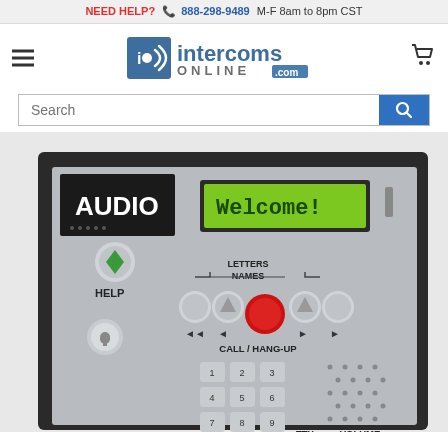NEED HELP? 888-298-9489 M-F 8am to 8pm CST
[Figure (logo): Intercoms Online .com logo with signal icon]
[Figure (photo): Audio intercom entry panel with keypad, display showing Welcome!, HELP button, LETTERS/NAMES navigation buttons, CALL/HANG-UP button, TTY indicator, VOLUME control, and speaker grille]